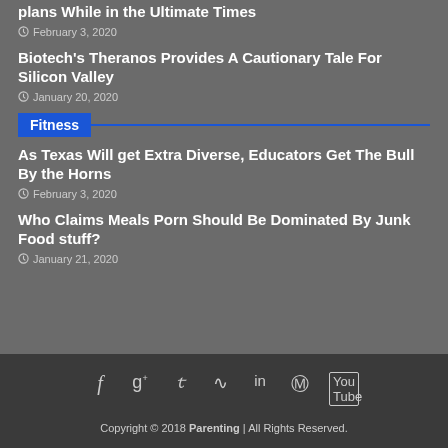plans While in the Ultimate Times
February 3, 2020
Biotech's Theranos Provides A Cautionary Tale For Silicon Valley
January 20, 2020
Fitness
As Texas Will get Extra Diverse, Educators Get The Bull By the Horns
February 3, 2020
Who Claims Meals Porn Should Be Dominated By Junk Food stuff?
January 21, 2020
Copyright © 2018 Parenting | All Rights Reserved.